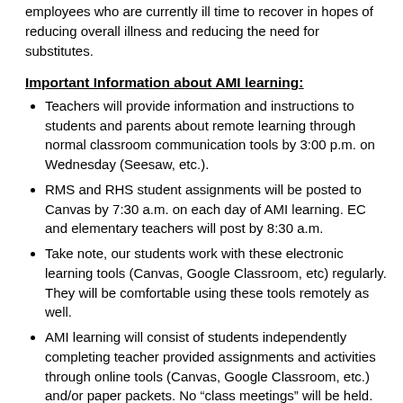employees who are currently ill time to recover in hopes of reducing overall illness and reducing the need for substitutes.
Important Information about AMI learning:
Teachers will provide information and instructions to students and parents about remote learning through normal classroom communication tools by 3:00 p.m. on Wednesday (Seesaw, etc.).
RMS and RHS student assignments will be posted to Canvas by 7:30 a.m. on each day of AMI learning. EC and elementary teachers will post by 8:30 a.m.
Take note, our students work with these electronic learning tools (Canvas, Google Classroom, etc) regularly. They will be comfortable using these tools remotely as well.
AMI learning will consist of students independently completing teacher provided assignments and activities through online tools (Canvas, Google Classroom, etc.) and/or paper packets. No “class meetings” will be held.